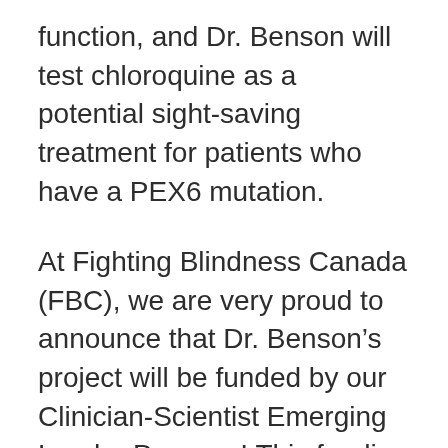function, and Dr. Benson will test chloroquine as a potential sight-saving treatment for patients who have a PEX6 mutation.
At Fighting Blindness Canada (FBC), we are very proud to announce that Dr. Benson’s project will be funded by our Clinician-Scientist Emerging Leader Program! This funding program is incredibly important to FBC’s mission because clinician-scientists bring a unique perspective to research that draws on their interactions with patients. Moreover, we know that building a strong community of clinician-scientists will create a framework to support more innovative clinical trials in Canada!